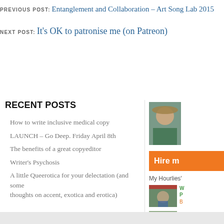PREVIOUS POST: Entanglement and Collaboration – Art Song Lab 2015
NEXT POST: It’s OK to patronise me (on Patreon)
RECENT POSTS
How to write inclusive medical copy
LAUNCH – Go Deep. Friday April 8th
The benefits of a great copyeditor
Writer’s Psychosis
A little Queerotica for your delectation (and some thoughts on accent, exotica and erotica)
[Figure (photo): Profile photo of a woman wearing a wide-brimmed hat outdoors]
[Figure (illustration): Orange hire me button]
My Hourlies’
[Figure (photo): Thumbnail photo of a person with an animal]
[Figure (photo): Thumbnail photo of people outdoors on a structure]